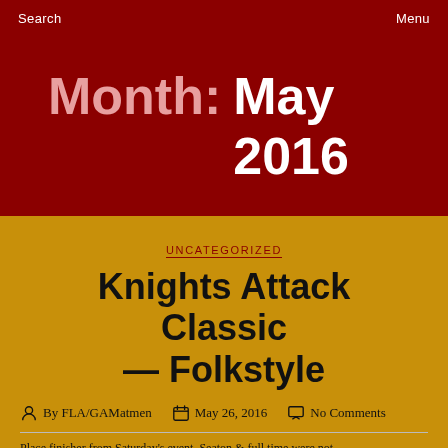Search    Menu
Month: May 2016
UNCATEGORIZED
Knights Attack Classic — Folkstyle
By FLA/GAMatmen   May 26, 2016   No Comments
Place finisher from Saturday's event. Seaton & full time were not